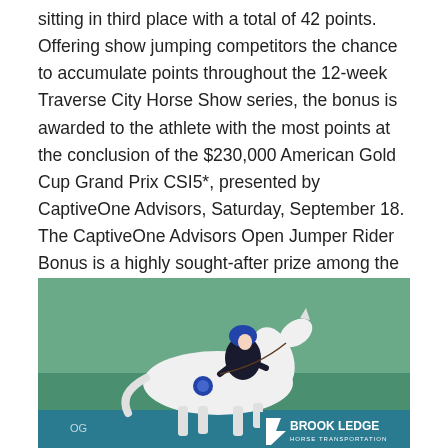sitting in third place with a total of 42 points. Offering show jumping competitors the chance to accumulate points throughout the 12-week Traverse City Horse Show series, the bonus is awarded to the athlete with the most points at the conclusion of the $230,000 American Gold Cup Grand Prix CSI5*, presented by CaptiveOne Advisors, Saturday, September 18. The CaptiveOne Advisors Open Jumper Rider Bonus is a highly sought-after prize among the field of international competitors that attend Traverse City Horse Shows.
[Figure (photo): A horse and rider at an equestrian show jumping event. The rider wears a dark jacket and blue helmet, riding a white horse. A teal/cyan sponsor banner with 'Brook Ledge Horse Transportation' logo is visible in the background. A white jump standard with yellow ribbon is visible on the left.]